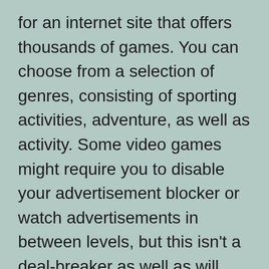for an internet site that offers thousands of games. You can choose from a selection of genres, consisting of sporting activities, adventure, as well as activity. Some video games might require you to disable your advertisement blocker or watch advertisements in between levels, but this isn't a deal-breaker as well as will certainly provide you a lot of variety to maintain you amused. If you don't want to spend any type of cash, ArmorGames is the best place to start.
An additional excellent site to play a cost-free online game is Bored.com. The site includes...